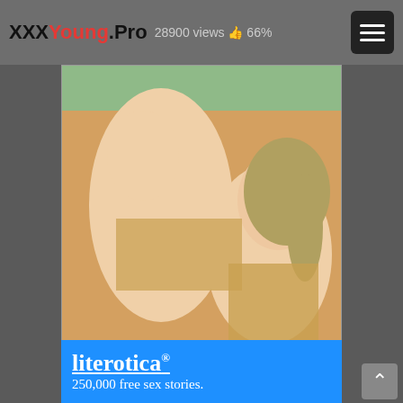XXXYoung.Pro  28900 views  66%
[Figure (illustration): Anime/hentai illustration showing two animated characters]
25-year-old high..
47 views  50%
[Figure (screenshot): Advertisement banner for literotica: 250,000 free sex stories.]